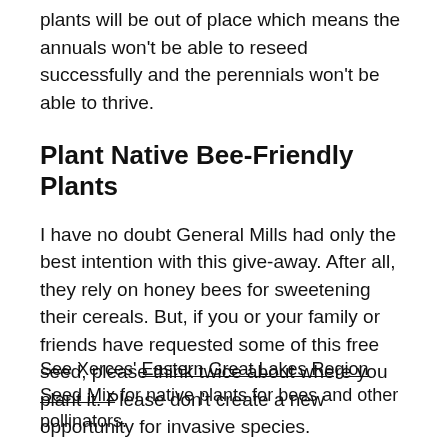plants will be out of place which means the annuals won't be able to reseed successfully and the perennials won't be able to thrive.
Plant Native Bee-Friendly Plants
I have no doubt General Mills had only the best intention with this give-away. After all, they rely on honey bees for sweetening their cereals. But, if you or your family or friends have requested some of this free seed, please think twice about where you plant it. Please don't create a new opportunity for invasive species.
See Xerces' Eastern Great Lakes Region Seed Mix for native plants for bees and other pollinators.